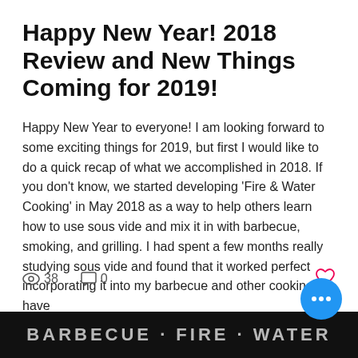Happy New Year! 2018 Review and New Things Coming for 2019!
Happy New Year to everyone! I am looking forward to some exciting things for 2019, but first I would like to do a quick recap of what we accomplished in 2018. If you don't know, we started developing 'Fire & Water Cooking' in May 2018 as a way to help others learn how to use sous vide and mix it in with barbecue, smoking, and grilling. I had spent a few months really studying sous vide and found that it worked perfect incorporating it into my barbecue and other cooking I have
[Figure (screenshot): View count icon showing 38, comment icon showing 0, heart/like icon on right, blue FAB button with three dots, dark image at bottom showing text.]